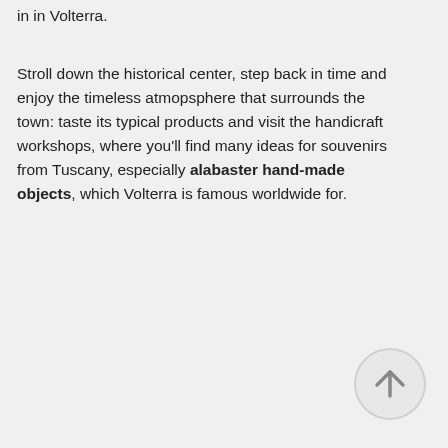in in Volterra.
Stroll down the historical center, step back in time and enjoy the timeless atmopsphere that surrounds the town: taste its typical products and visit the handicraft workshops, where you'll find many ideas for souvenirs from Tuscany, especially alabaster hand-made objects, which Volterra is famous worldwide for.
[Figure (other): A circular scroll-to-top button with an upward arrow icon, light grey background]